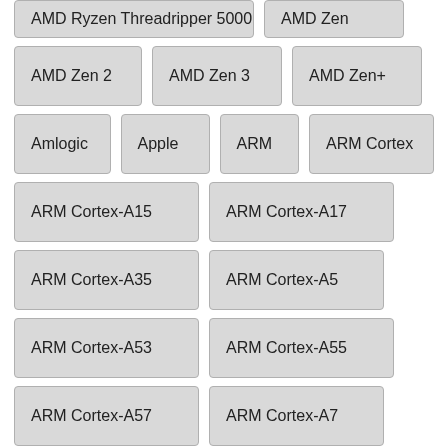AMD Ryzen Threadripper 5000
AMD Zen
AMD Zen 2
AMD Zen 3
AMD Zen+
Amlogic
Apple
ARM
ARM Cortex
ARM Cortex-A15
ARM Cortex-A17
ARM Cortex-A35
ARM Cortex-A5
ARM Cortex-A53
ARM Cortex-A55
ARM Cortex-A57
ARM Cortex-A7
ARM Cortex-A72
ARM Cortex-A73